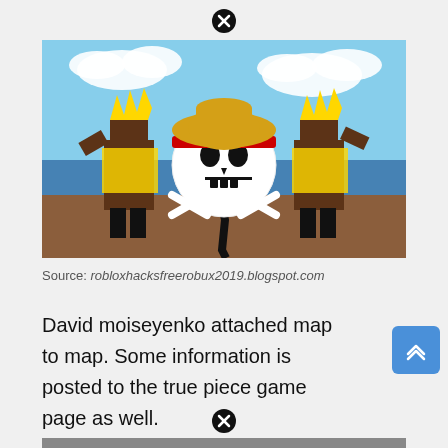[Figure (screenshot): Screenshot of a Roblox game featuring two blocky characters with yellow spiky hair and yellow-brown outfits standing on a wooden surface. Between them is a large One Piece Jolly Roger skull logo. Sky and ocean visible in background.]
Source: robloxhacksfreerobux2019.blogspot.com
David moiseyenko attached map to map. Some information is posted to the true piece game page as well.